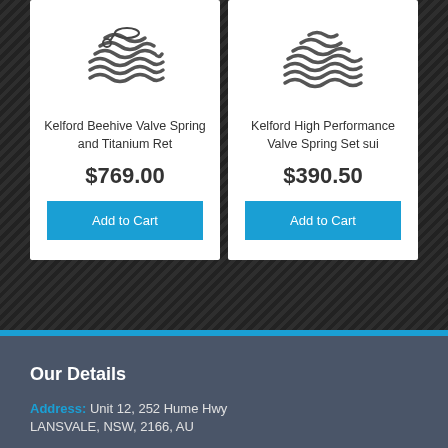[Figure (photo): Kelford Beehive Valve Spring and Titanium Ret product image - coiled valve spring]
Kelford Beehive Valve Spring and Titanium Ret
$769.00
Add to Cart
[Figure (photo): Kelford High Performance Valve Spring Set sui product image - coiled valve spring]
Kelford High Performance Valve Spring Set sui
$390.50
Add to Cart
Our Details
Address: Unit 12, 252 Hume Hwy
LANSVALE, NSW, 2166, AU